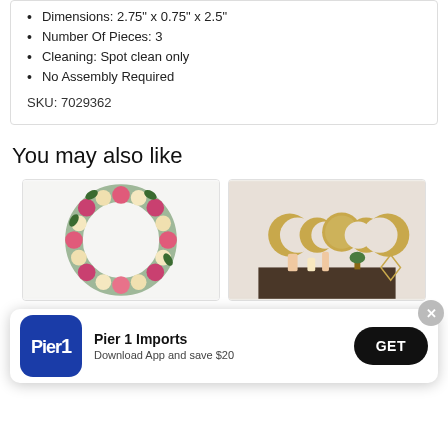Dimensions: 2.75" x 0.75" x 2.5"
Number Of Pieces: 3
Cleaning: Spot clean only
No Assembly Required
SKU: 7029362
You may also like
[Figure (photo): Floral wreath made of pink and white roses with green leaves]
[Figure (photo): Gold crescent moon metal wall mirrors set displayed on wall above candles and decor]
[Figure (other): Pier 1 Imports app download banner with logo, text 'Pier 1 Imports - Download App and save $20', and GET button]